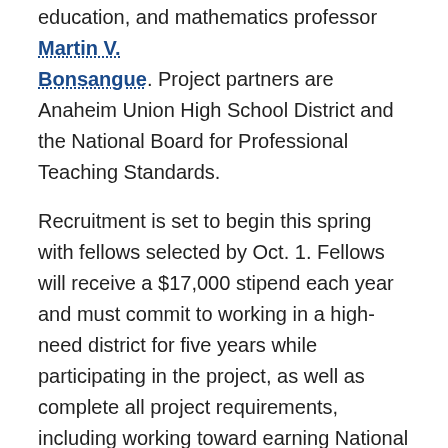education, and mathematics professor Martin V. Bonsangue. Project partners are Anaheim Union High School District and the National Board for Professional Teaching Standards.
Recruitment is set to begin this spring with fellows selected by Oct. 1. Fellows will receive a $17,000 stipend each year and must commit to working in a high-need district for five years while participating in the project, as well as complete all project requirements, including working toward earning National Board certification. Fellows also will serve as mentors to CSUF credential students, organize professional growth opportunities for peers, and plan and participate